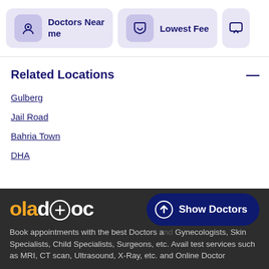[Figure (infographic): Filter cards: 'Doctors Near me' with location pin icon, 'Lowest Fee' with shield/discount icon, and a partially visible third card with chat icon, all on light purple background]
Related Locations
Gulberg
Jail Road
Bahria Town
DHA
[Figure (logo): oladoc logo in orange and white on dark background]
Book appointments with the best Doctors and Gynecologists, Skin Specialists, Child Specialists, Surgeons, etc. Avail test services such as MRI, CT scan, Ultrasound, X-Ray, etc. and Online Doctor